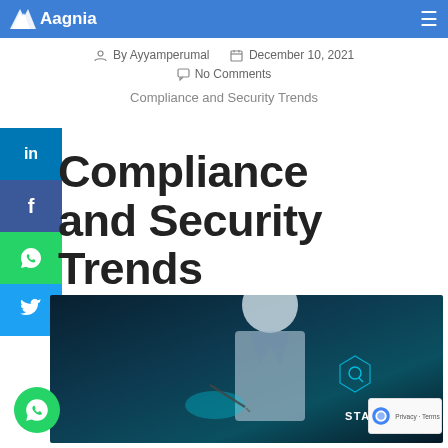Aagnia
By Ayyamperumal   December 10, 2021
No Comments
Compliance and Security Trends
Compliance and Security Trends
[Figure (photo): Professional person in suit touching digital compliance/standards interface with hexagonal icons including search and STANDARDS text overlay]